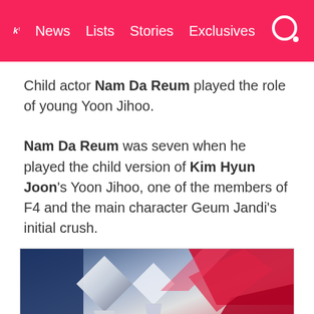k! News Lists Stories Exclusives
Child actor Nam Da Reum played the role of young Yoon Jihoo.
Nam Da Reum was seven when he played the child version of Kim Hyun Joon's Yoon Jihoo, one of the members of F4 and the main character Geum Jandi's initial crush.
[Figure (photo): Photo of award trophies at an event, showing crystal/acrylic awards and red decorative elements in the background.]